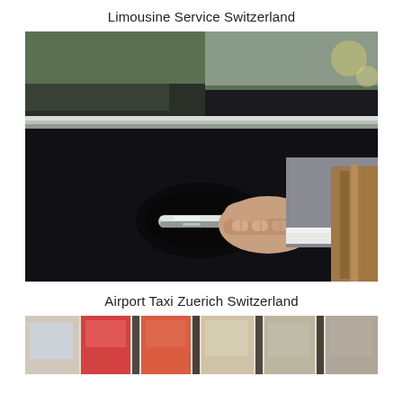Limousine Service Switzerland
[Figure (photo): Close-up photo of a chauffeur in a grey suit opening the door handle of a black luxury car, with trees visible in the background.]
Airport Taxi Zuerich Switzerland
[Figure (photo): Partial photo of a street scene with colorful shopfronts, partially visible at the bottom of the page.]